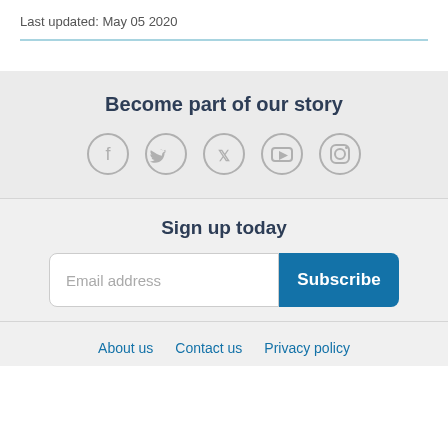Last updated: May 05 2020
Become part of our story
[Figure (illustration): Social media icons: Facebook, Twitter, YouTube, Instagram (grey outlined circles)]
Sign up today
Email address  Subscribe
About us   Contact us   Privacy policy